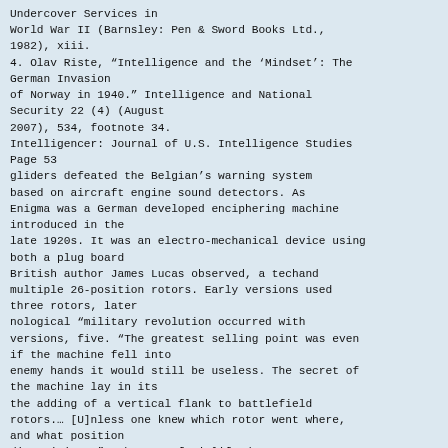Undercover Services in
World War II (Barnsley: Pen & Sword Books Ltd.,
1982), xiii.
4. Olav Riste, “Intelligence and the ‘Mindset’: The
German Invasion
of Norway in 1940.” Intelligence and National
Security 22 (4) (August
2007), 534, footnote 34.
Intelligencer: Journal of U.S. Intelligence Studies
Page 53
gliders defeated the Belgian’s warning system
based on aircraft engine sound detectors. As
Enigma was a German developed enciphering machine
introduced in the
late 1920s. It was an electro-mechanical device using
both a plug board
British author James Lucas observed, a techand
multiple 26-position rotors. Early versions used
three rotors, later
nological “military revolution occurred with
versions, five. “The greatest selling point was even
if the machine fell into
enemy hands it would still be useless. The secret of
the machine lay in its
the adding of a vertical flank to battlefield
rotors.… [U]nless one knew which rotor went where,
and what position
dispositions.”8 The use of airlifted troops,
each rotor started in, the Enigma machine was
useless…. At the time of its
use it was the epitome of ciphering machines” for
Morse transmissions.*
paratrooops, and glider borne soldiers was a